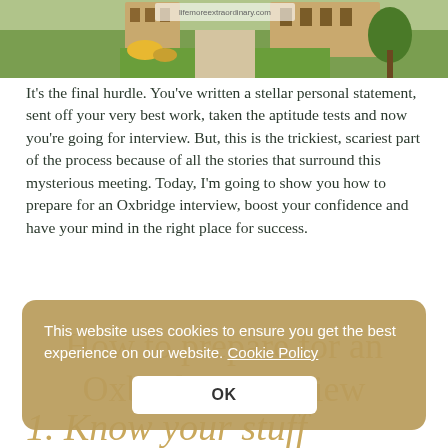[Figure (photo): Exterior garden/courtyard photo of an Oxbridge college building with green lawns and flowers, with a URL watermark 'lifemoreextraordinary.com' visible]
It's the final hurdle. You've written a stellar personal statement, sent off your very best work, taken the aptitude tests and now you're going for interview. But, this is the trickiest, scariest part of the process because of all the stories that surround this mysterious meeting. Today, I'm going to show you how to prepare for an Oxbridge interview, boost your confidence and have your mind in the right place for success.
This website uses cookies to ensure you get the best experience on our website. Cookie Policy
OK
How to prepare for an Oxbridge Interview
1. Know your stuff